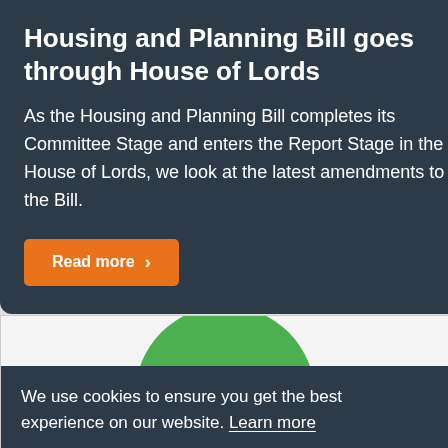Housing and Planning Bill goes through House of Lords
As the Housing and Planning Bill completes its Committee Stage and enters the Report Stage in the House of Lords, we look at the latest amendments to the Bill.
Read more >
We use cookies to ensure you get the best experience on our website. Learn more
Got it!